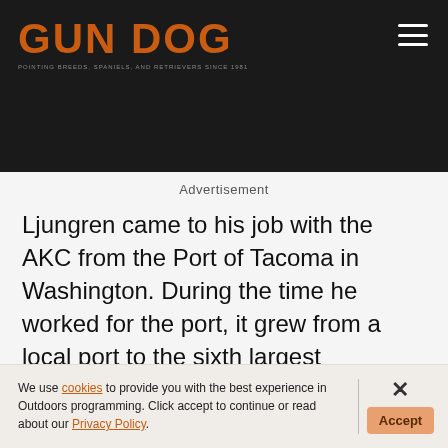[Figure (logo): Gun Dog magazine logo in orange bold text on dark background, with hamburger menu icon top right]
Advertisement
Ljungren came to his job with the AKC from the Port of Tacoma in Washington. During the time he worked for the port, it grew from a local port to the sixth largest container port in North America. It was, he said, a very interesting time.
We use cookies to provide you with the best experience in Outdoors programming. Click accept to continue or read about our Privacy Policy.